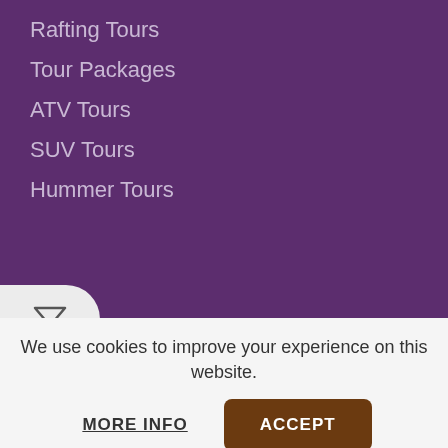Rafting Tours
Tour Packages
ATV Tours
SUV Tours
Hummer Tours
[Figure (other): Filter icon button - funnel/filter symbol inside a light grey rounded pill button]
TRAVELBLOG
7 Best Family-Friendly Hotels in Las Vegas & 3 Hotels to Avoid
August 31, 2022
We use cookies to improve your experience on this website.
MORE INFO
ACCEPT